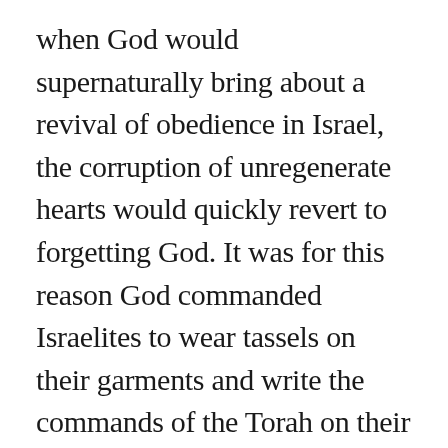when God would supernaturally bring about a revival of obedience in Israel, the corruption of unregenerate hearts would quickly revert to forgetting God. It was for this reason God commanded Israelites to wear tassels on their garments and write the commands of the Torah on their doorposts; they were slow to remember and quick to forget (Numbers 15:39, Deuteronomy 6:9). The Law of Moses had no power to reform corrupted hearts from the inside out; it could only restrain sin from the outside in.